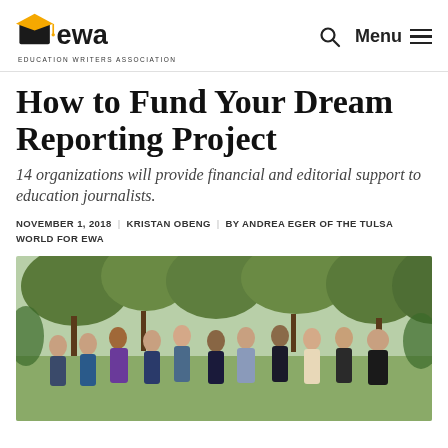EWA - Education Writers Association
How to Fund Your Dream Reporting Project
14 organizations will provide financial and editorial support to education journalists.
NOVEMBER 1, 2018 | KRISTAN OBENG | BY ANDREA EGER OF THE TULSA WORLD FOR EWA
[Figure (photo): Group photo of approximately 11 people standing outdoors in a garden area, smiling at the camera]